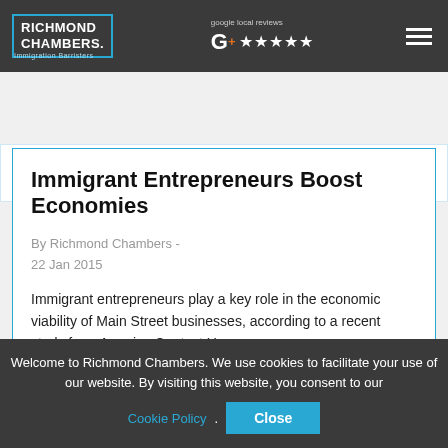RICHMOND CHAMBERS. Immigration Barristers | google local reviews ★★★★★
[Figure (other): Social media icons: Facebook, Twitter, Instagram, LinkedIn, RSS feed, with right chevron arrow]
Immigrant Entrepreneurs Boost Economies
By Richmond Chambers - 22 Jan 2015
Immigrant entrepreneurs play a key role in the economic viability of Main Street businesses, according to a recent study from America.Contact Us
Welcome to Richmond Chambers. We use cookies to facilitate your use of our website. By visiting this website, you consent to our Cookie Policy. Close